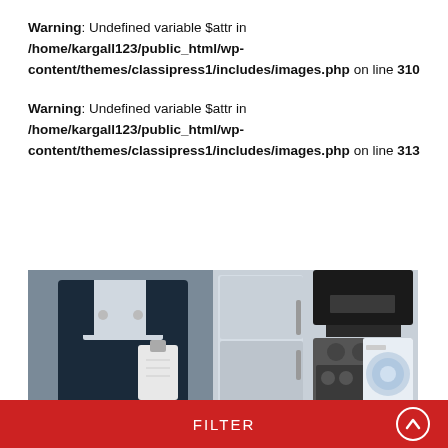Warning: Undefined variable $attr in /home/kargall123/public_html/wp-content/themes/classipress1/includes/images.php on line 310
Warning: Undefined variable $attr in /home/kargall123/public_html/wp-content/themes/classipress1/includes/images.php on line 313
[Figure (photo): A man in dark overalls holding a clipboard on the left, kitchen appliances including a refrigerator, range hood, stove, and washing machine on the right]
FILTER